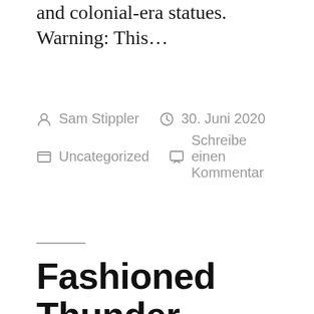and colonial-era statues. Warning: This…
By Sam Stippler   30. Juni 2020
Uncategorized   Schreibe einen Kommentar
Fashioned Thunder podcast: 'The Flesh presser' returns for an